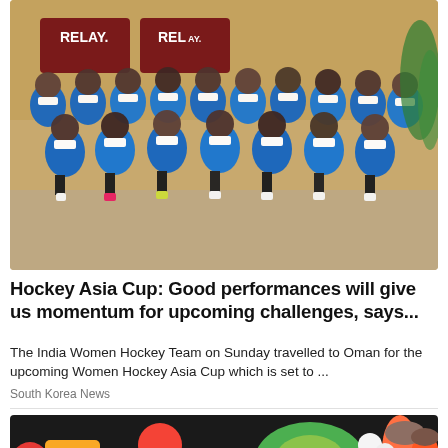[Figure (photo): Group photo of India Women Hockey Team wearing blue polo shirts and white face masks, posing indoors at what appears to be an airport, with 'RELAY' signage in the background.]
Hockey Asia Cup: Good performances will give us momentum for upcoming challenges, says...
The India Women Hockey Team on Sunday travelled to Oman for the upcoming Women Hockey Asia Cup which is set to ...
South Korea News
[Figure (photo): Close-up of various colorful vegetables and foods including tomatoes, bell peppers, avocado, carrots, red pepper, and nuts in bowls on a dark surface.]